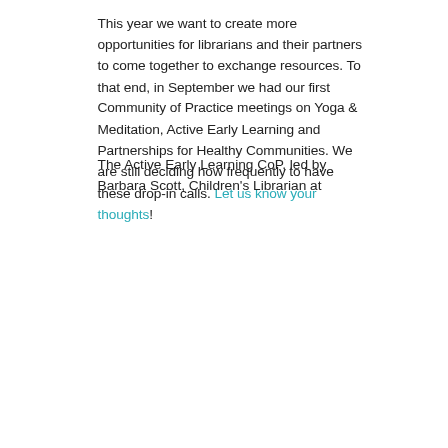This year we want to create more opportunities for librarians and their partners to come together to exchange resources. To that end, in September we had our first Community of Practice meetings on Yoga & Meditation, Active Early Learning and Partnerships for Healthy Communities. We are still deciding how frequently to have these drop-in calls. Let us know your thoughts!
The Active Early Learning CoP, led by Barbara Scott, Children's Librarian at